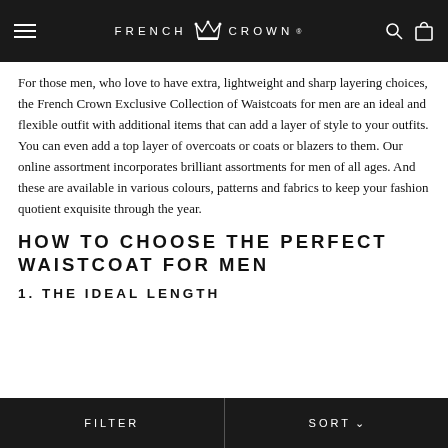FRENCH CROWN
For those men, who love to have extra, lightweight and sharp layering choices, the French Crown Exclusive Collection of Waistcoats for men are an ideal and flexible outfit with additional items that can add a layer of style to your outfits. You can even add a top layer of overcoats or coats or blazers to them. Our online assortment incorporates brilliant assortments for men of all ages. And these are available in various colours, patterns and fabrics to keep your fashion quotient exquisite through the year.
HOW TO CHOOSE THE PERFECT WAISTCOAT FOR MEN
1. THE IDEAL LENGTH
FILTER   SORT